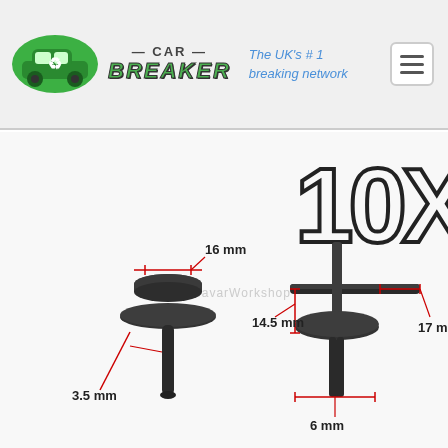[Figure (logo): Car Breaker logo with green car icon and recycling symbol, brand name 'CAR BREAKER' in green italic letters, tagline 'The UK's #1 breaking network' in blue italic text, and hamburger menu button]
[Figure (photo): Product photo showing 10x plastic car panel clips/rivets. Left clip shows assembled view with dimensions 16mm (head diameter) and 3.5mm (pin diameter). Right clip shows disassembled view with dimensions 14.5mm, 6mm, and 17mm. Red measurement lines overlay the image. Watermark text 'Ebay BavarWorkshop' visible in center.]